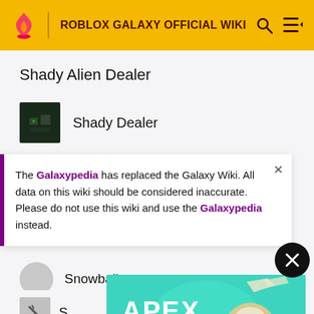ROBLOX GALAXY OFFICIAL WIKI
Shady Alien Dealer
Shady Dealer
Ships and Prices Sorted by Warehouse Level
The Galaxypedia has replaced the Galaxy Wiki. All data on this wiki should be considered inaccurate. Please do not use this wiki and use the Galaxypedia instead.
Snowball
S
[Figure (screenshot): Apex Legends advertisement banner with teal background showing a character holding a sniper rifle]
Snowflake